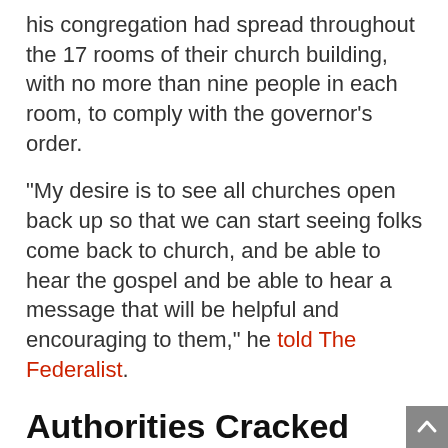his congregation had spread throughout the 17 rooms of their church building, with no more than nine people in each room, to comply with the governor's order.
“My desire is to see all churches open back up so that we can start seeing folks come back to church, and be able to hear the gospel and be able to hear a message that will be helpful and encouraging to them,” he told The Federalist.
Authorities Cracked Down on Churches
Instead of opening back up, however, churches met